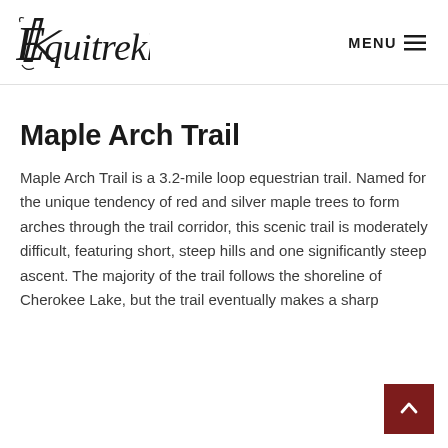Equitrekking  MENU
Maple Arch Trail
Maple Arch Trail is a 3.2-mile loop equestrian trail. Named for the unique tendency of red and silver maple trees to form arches through the trail corridor, this scenic trail is moderately difficult, featuring short, steep hills and one significantly steep ascent. The majority of the trail follows the shoreline of Cherokee Lake, but the trail eventually makes a sharp